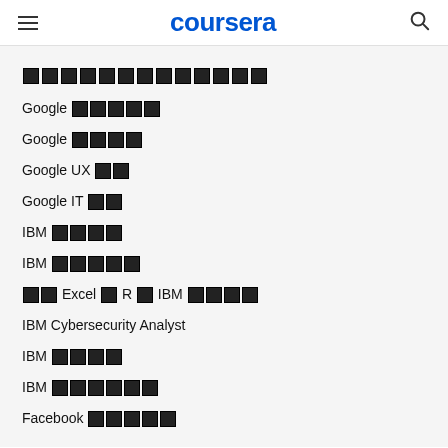coursera
인기 프로그램 [placeholder characters]
Google 데이터 애널리틱스
Google 프로젝트 관리
Google UX 디자인
Google IT 자동화
IBM 데이터 사이언스
IBM 풀스택 개발자
통계 Excel 및 R 활용 IBM 데이터 사이언스
IBM Cybersecurity Analyst
IBM 데이터 분석
IBM 백엔드 개발자
Facebook 소셜 마케팅